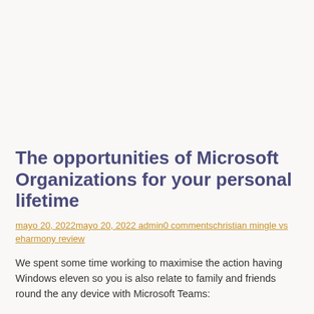The opportunities of Microsoft Organizations for your personal lifetime
mayo 20, 2022mayo 20, 2022 admin0 commentschristian mingle vs eharmony review
We spent some time working to maximise the action having Windows eleven so you is also relate to family and friends round the any device with Microsoft Teams:
Every morale of your own Desktop. It can be more comfortable to